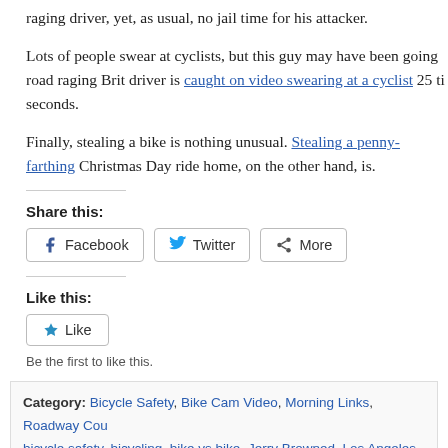raging driver, yet, as usual, no jail time for his attacker.
Lots of people swear at cyclists, but this guy may have been going road raging Brit driver is caught on video swearing at a cyclist 25 ti seconds.
Finally, stealing a bike is nothing unusual. Stealing a penny-farthing Christmas Day ride home, on the other hand, is.
Share this:
Facebook  Twitter  More
Like this:
Like
Be the first to like this.
Category: Bicycle Safety, Bike Cam Video, Morning Links, Roadway Cou bicycle safety, bicycling, bike vs bike, Jerry Browned, Los Angeles, safe